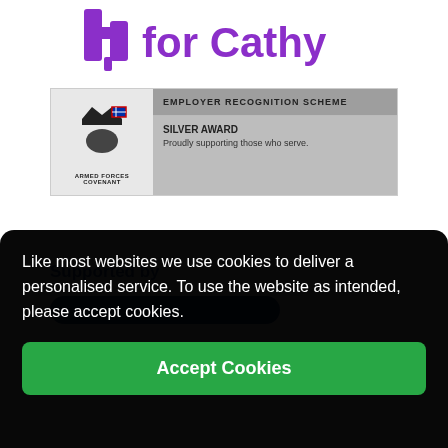[Figure (logo): Housing For Cathy logo with purple icon and text 'for Cathy']
[Figure (logo): Armed Forces Covenant Employer Recognition Scheme Silver Award badge. Text: EMPLOYER RECOGNITION SCHEME, SILVER AWARD, Proudly supporting those who serve.]
Supported by
Like most websites we use cookies to deliver a personalised service. To use the website as intended, please accept cookies.
Accept Cookies